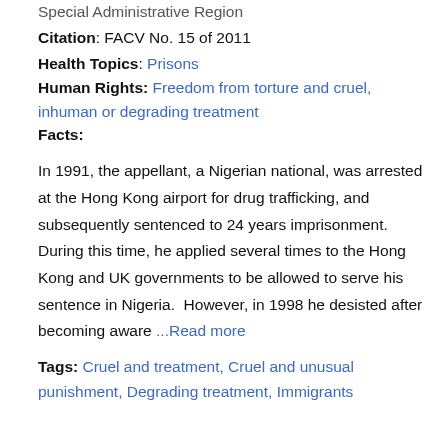Special Administrative Region
Citation: FACV No. 15 of 2011
Health Topics: Prisons
Human Rights: Freedom from torture and cruel, inhuman or degrading treatment
Facts:
In 1991, the appellant, a Nigerian national, was arrested at the Hong Kong airport for drug trafficking, and subsequently sentenced to 24 years imprisonment. During this time, he applied several times to the Hong Kong and UK governments to be allowed to serve his sentence in Nigeria.  However, in 1998 he desisted after becoming aware ...Read more
Tags: Cruel and treatment, Cruel and unusual punishment, Degrading treatment, Immigrants